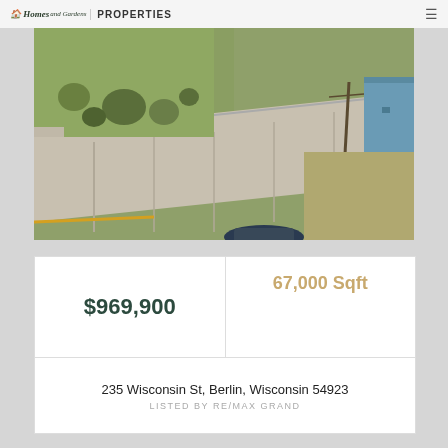Homes and Gardens REAL ESTATE PROPERTIES
[Figure (photo): Aerial view of vacant land lot at 235 Wisconsin St, Berlin, Wisconsin. Shows a green grass lot with shrubs/trees, adjacent to a wide concrete sidewalk/road. A blue building is partially visible in the upper right corner. A vehicle is visible at the bottom.]
| $969,900 | 67,000 Sqft |
| 235 Wisconsin St, Berlin, Wisconsin 54923
LISTED BY RE/MAX GRAND |  |
$969,900
67,000 Sqft
235 Wisconsin St, Berlin, Wisconsin 54923
LISTED BY RE/MAX GRAND